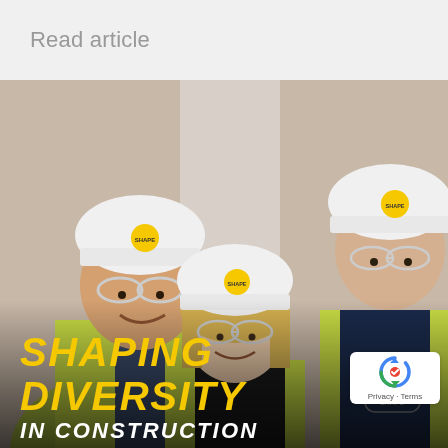Read article
[Figure (photo): Three construction workers wearing white hard hats with yellow SHAPE logos and high-visibility yellow vests, smiling at the camera inside a construction site. Left: Asian man with safety glasses smiling broadly. Center: Blonde woman with safety glasses smiling. Right: Tall man with safety glasses.]
SHAPING DIVERSITY IN CONSTRUCTION